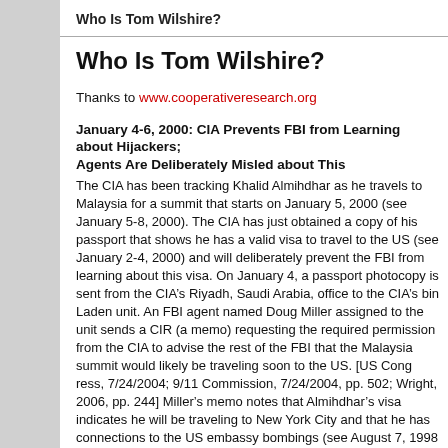Who Is Tom Wilshire?
Who Is Tom Wilshire?
Thanks to www.cooperativeresearch.org
January 4-6, 2000: CIA Prevents FBI from Learning about Hijackers; Agents Are Deliberately Misled about This
The CIA has been tracking Khalid Almihdhar as he travels to Malaysia for a summit that starts on January 5, 2000 (see January 5-8, 2000). The CIA has just obtained a copy of his passport that shows he has a valid visa to travel to the US (see January 2-4, 2000) and will deliberately prevent the FBI from learning about this visa. On January 4, a passport photocopy is sent from the CIA’s Riyadh, Saudi Arabia, office to the CIA’s Osama bin Laden unit. An FBI agent named Doug Miller assigned to the unit sends a CIR (a memo) requesting the required permission from the CIA to advise the rest of the FBI that the Malaysia summit would likely be traveling soon to the US. [US Congress, 7/24/2004; 9/11 Commission, 7/24/2004, pp. 502; Wright, 2006, pp. 244] Miller’s memo notes that Almihdhar’s visa indicates he will be traveling to New York City and that he has connections to the US embassy bombings (see August 7, 1998 and October 4, 2001) and to a telephone communications hub in Yemen (see Late 1998-Early 2002). He also notes that other photos have been obtained and will be sent as well. However, a headquarters CIA official and deputy unit chief, Tom Wilshire, does not want it sent yet, and that, “blocking the FBI.” [US Department of Justice, 11/2004, pp. 240 pdf file] Several days later someone writes a cable that is distributed only within the CIA. It is sent the next day saying that Almihdhar’s visa documents were shared with the FBI. This official will later not personally share the information with the FBI either, and the 9/11 Commission cannot find anyone in the CIA who did share it with the FBI. [US Congress, 7/24/2004; 9/11 Commission, 7/24/2004, pp. 502; Wright, 2006, pp. 310-311] A week later Miller resubmits his rejected memo to Wilshire. Miller asks, “Is this a correct...